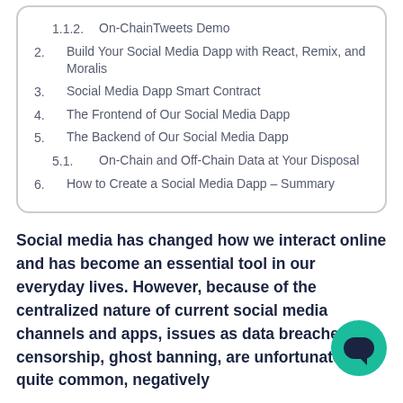1.1.2. On-ChainTweets Demo
2. Build Your Social Media Dapp with React, Remix, and Moralis
3. Social Media Dapp Smart Contract
4. The Frontend of Our Social Media Dapp
5. The Backend of Our Social Media Dapp
5.1. On-Chain and Off-Chain Data at Your Disposal
6. How to Create a Social Media Dapp – Summary
Social media has changed how we interact online and has become an essential tool in our everyday lives. However, because of the centralized nature of current social media channels and apps, issues as data breaches, censorship, ghost banning, are unfortunately quite common, negatively